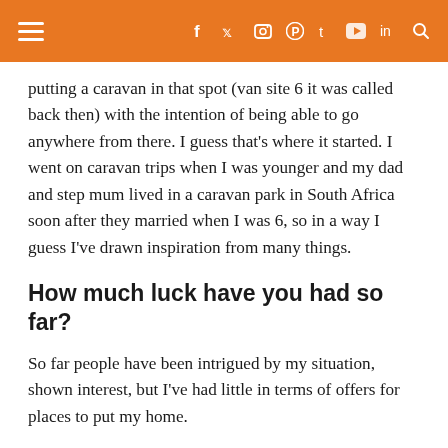☰  f  𝕩  📷  𝗣  t  ▶  in  🔍
putting a caravan in that spot (van site 6 it was called back then) with the intention of being able to go anywhere from there. I guess that's where it started. I went on caravan trips when I was younger and my dad and step mum lived in a caravan park in South Africa soon after they married when I was 6, so in a way I guess I've drawn inspiration from many things.
How much luck have you had so far?
So far people have been intrigued by my situation, shown interest, but I've had little in terms of offers for places to put my home.